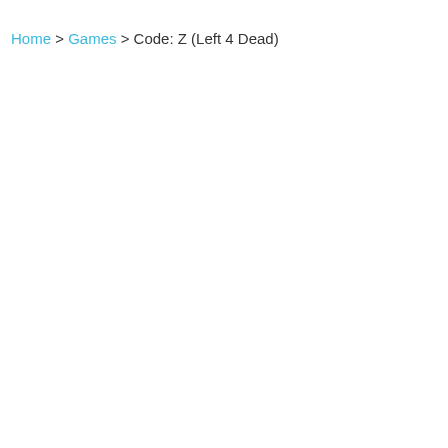Home > Games > Code: Z (Left 4 Dead)